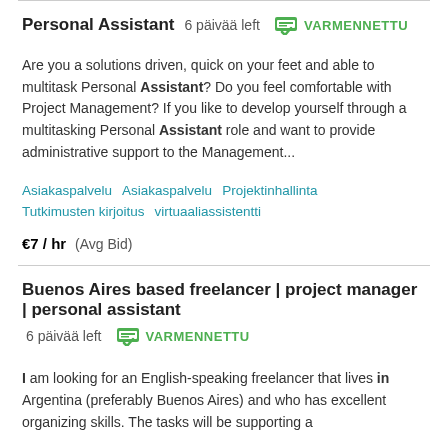Personal Assistant  6 päivää left  VARMENNETTU
Are you a solutions driven, quick on your feet and able to multitask Personal Assistant? Do you feel comfortable with Project Management? If you like to develop yourself through a multitasking Personal Assistant role and want to provide administrative support to the Management...
Asiakaspalvelu  Asiakaspalvelu  Projektinhallinta  Tutkimusten kirjoitus  virtuaaliassistentti
€7 / hr  (Avg Bid)
Buenos Aires based freelancer | project manager | personal assistant  6 päivää left  VARMENNETTU
I am looking for an English-speaking freelancer that lives in Argentina (preferably Buenos Aires) and who has excellent organizing skills. The tasks will be supporting a ...